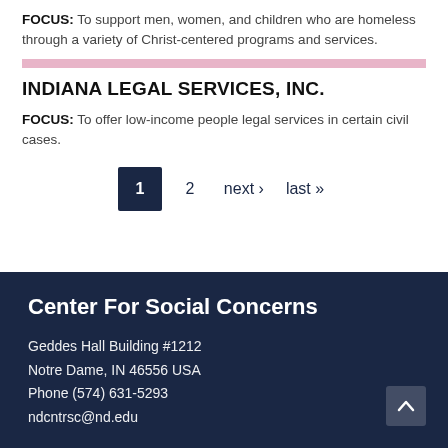FOCUS: To support men, women, and children who are homeless through a variety of Christ-centered programs and services.
INDIANA LEGAL SERVICES, INC.
FOCUS: To offer low-income people legal services in certain civil cases.
1  2  next ›  last »
Center For Social Concerns
Geddes Hall Building #1212
Notre Dame, IN 46556 USA
Phone (574) 631-5293
ndcntrsc@nd.edu